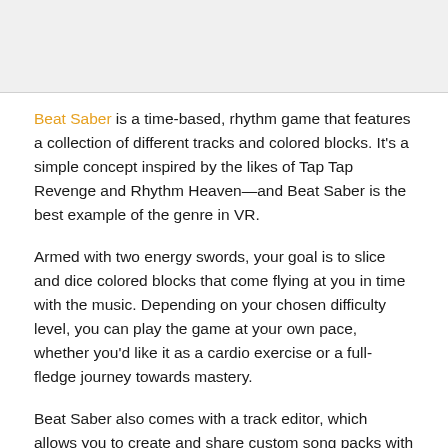[Figure (photo): Top image area, appears to be a screenshot or photo related to Beat Saber game, shown as a light gray placeholder block.]
Beat Saber is a time-based, rhythm game that features a collection of different tracks and colored blocks. It's a simple concept inspired by the likes of Tap Tap Revenge and Rhythm Heaven—and Beat Saber is the best example of the genre in VR.
Armed with two energy swords, your goal is to slice and dice colored blocks that come flying at you in time with the music. Depending on your chosen difficulty level, you can play the game at your own pace, whether you'd like it as a cardio exercise or a full-fledge journey towards mastery.
Beat Saber also comes with a track editor, which allows you to create and share custom song packs with the community. The official website also hosts a large number of official and user-